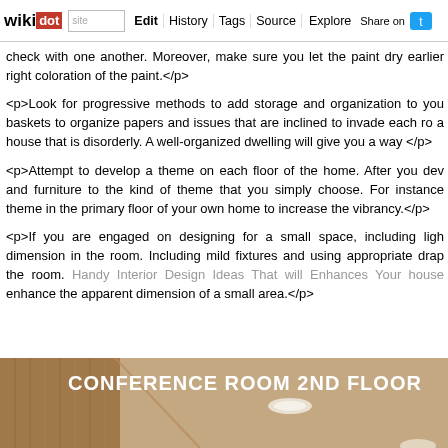wikidot | site | Edit | History | Tags | Source | Explore | Share on
check with one another. Moreover, make sure you let the paint dry earlier right coloration of the paint.</p>

<p>Look for progressive methods to add storage and organization to you baskets to organize papers and issues that are inclined to invade each ro a house that is disorderly. A well-organized dwelling will give you a way </p>

<p>Attempt to develop a theme on each floor of the home. After you dev and furniture to the kind of theme that you simply choose. For instance theme in the primary floor of your own home to increase the vibrancy.</p>

<p>If you are engaged on designing for a small space, including ligh dimension in the room. Including mild fixtures and using appropriate dra the room. Handy Interior Design Ideas That will Enhances Your house enhance the apparent dimension of a small area.</p>
[Figure (photo): Interior photo of a conference room labeled 'CONFERENCE ROOM 2ND FLOOR' showing wooden paneled walls and ceiling with recessed lighting]